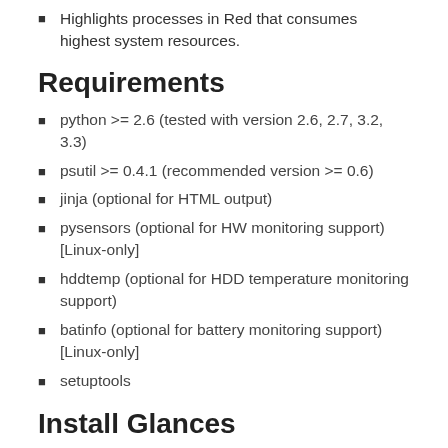Highlights processes in Red that consumes highest system resources.
Requirements
python >= 2.6 (tested with version 2.6, 2.7, 3.2, 3.3)
psutil >= 0.4.1 (recommended version >= 0.6)
jinja (optional for HTML output)
pysensors (optional for HW monitoring support) [Linux-only]
hddtemp (optional for HDD temperature monitoring support)
batinfo (optional for battery monitoring support) [Linux-only]
setuptools
Install Glances
Actually, packages exist for Arch Linux, Fedora / CentOS /